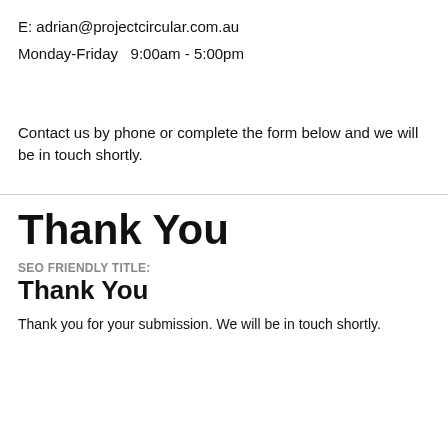E: adrian@projectcircular.com.au
Monday-Friday   9:00am - 5:00pm
Contact us by phone or complete the form below and we will be in touch shortly.
Thank You
SEO Friendly Title:
Thank You
Thank you for your submission. We will be in touch shortly.